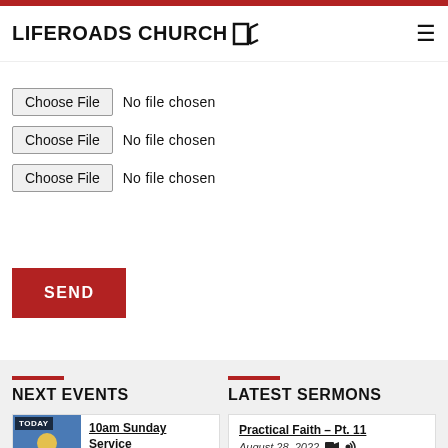LIFEROADS CHURCH [logo]
Choose File  No file chosen
Choose File  No file chosen
Choose File  No file chosen
SEND
NEXT EVENTS
TODAY
10am Sunday Service
10:00 am – 11:20 am
LATEST SERMONS
Practical Faith – Pt. 11
August 28, 2022
Practical Faith – Pt. 10